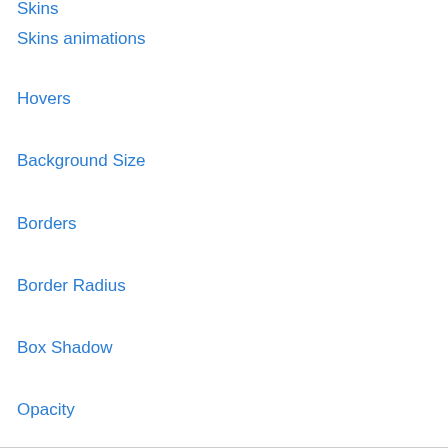Skins
Skins animations
Hovers
Background Size
Borders
Border Radius
Box Shadow
Opacity
ELEMENTS
Images
Links
Lists
Forms
Tables